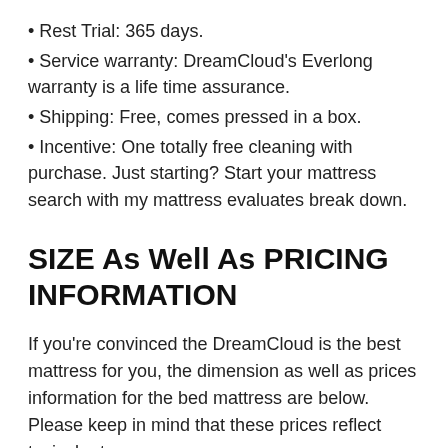• Rest Trial: 365 days.
• Service warranty: DreamCloud's Everlong warranty is a life time assurance.
• Shipping: Free, comes pressed in a box.
• Incentive: One totally free cleaning with purchase. Just starting? Start your mattress search with my mattress evaluates break down.
SIZE As Well As PRICING INFORMATION
If you're convinced the DreamCloud is the best mattress for you, the dimension as well as prices information for the bed mattress are below. Please keep in mind that these prices reflect typical rates.